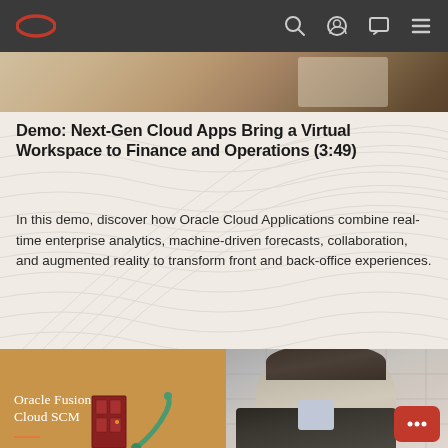Oracle navigation bar with logo and icons
[Figure (photo): Partial top image showing a workspace/desk scene cropped at the top]
Demo: Next-Gen Cloud Apps Bring a Virtual Workspace to Finance and Operations (3:49)
In this demo, discover how Oracle Cloud Applications combine real-time enterprise analytics, machine-driven forecasts, collaboration, and augmented reality to transform front and back-office experiences.
[Figure (photo): Oracle Fusion Cloud SCM card with a man speaking on the right side, a door illustration and robotic arm on the left portion, on a tan/orange background]